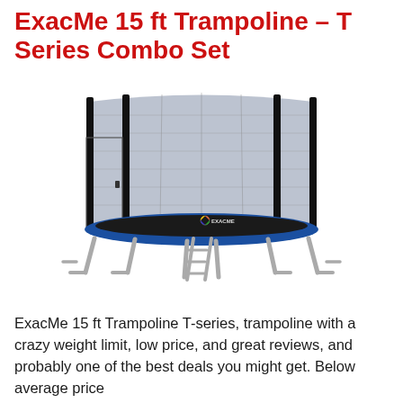ExacMe 15 ft Trampoline – T Series Combo Set
[Figure (photo): Product photo of ExacMe 15 ft Trampoline with safety enclosure net, blue spring pad cover, metal legs, and a ladder. The ExacMe logo is visible on the trampoline body.]
ExacMe 15 ft Trampoline T-series, trampoline with a crazy weight limit, low price, and great reviews, and probably one of the best deals you might get. Below average price